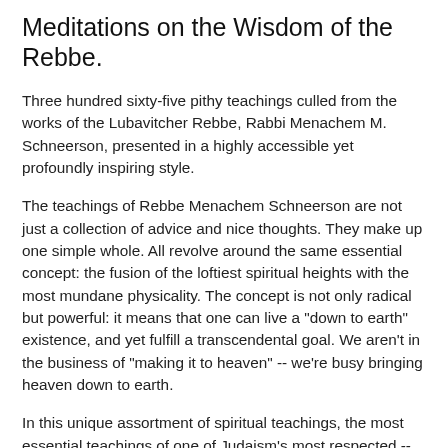Meditations on the Wisdom of the Rebbe.
Three hundred sixty-five pithy teachings culled from the works of the Lubavitcher Rebbe, Rabbi Menachem M. Schneerson, presented in a highly accessible yet profoundly inspiring style.
The teachings of Rebbe Menachem Schneerson are not just a collection of advice and nice thoughts. They make up one simple whole. All revolve around the same essential concept: the fusion of the loftiest spiritual heights with the most mundane physicality. The concept is not only radical but powerful: it means that one can live a "down to earth" existence, and yet fulfill a transcendental goal. We aren't in the business of "making it to heaven" -- we're busy bringing heaven down to earth.
In this unique assortment of spiritual teachings, the most essential teachings of one of Judaism's most respected -- and controversial -- religious leaders is collected in an accessible format. Covering such broad and varied topics as healing, nature, family, faith and intellect, among others, the encapsulated messages of a great master will